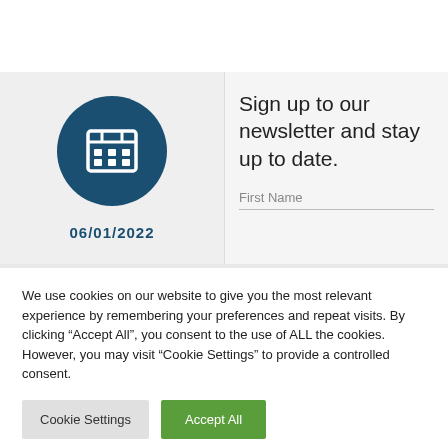[Figure (illustration): Dark blue circle with a calendar/grid icon (white 3x3 grid) inside]
06/01/2022
Sign up to our newsletter and stay up to date.
First Name
We use cookies on our website to give you the most relevant experience by remembering your preferences and repeat visits. By clicking “Accept All”, you consent to the use of ALL the cookies. However, you may visit "Cookie Settings" to provide a controlled consent.
Cookie Settings
Accept All